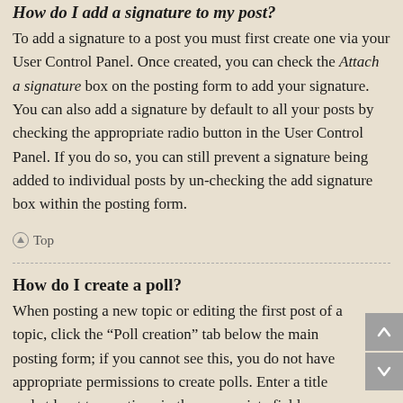How do I add a signature to my post?
To add a signature to a post you must first create one via your User Control Panel. Once created, you can check the Attach a signature box on the posting form to add your signature. You can also add a signature by default to all your posts by checking the appropriate radio button in the User Control Panel. If you do so, you can still prevent a signature being added to individual posts by un-checking the add signature box within the posting form.
Top
How do I create a poll?
When posting a new topic or editing the first post of a topic, click the “Poll creation” tab below the main posting form; if you cannot see this, you do not have appropriate permissions to create polls. Enter a title and at least two options in the appropriate fields, making sure each option is on a separate line in the textarea. You can also set the number of options users may select during voting under “Options per user”, a time limit in days for the poll (0 for infinite duration) and lastly the option to allow users to